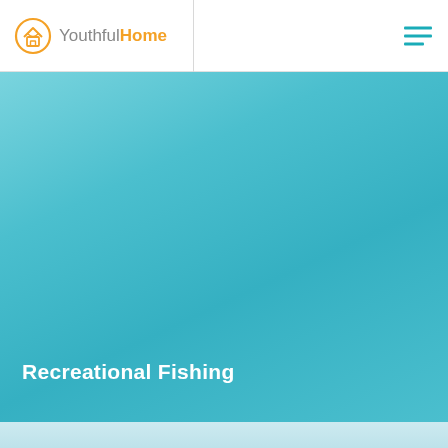YouthfulHome
[Figure (illustration): YouthfulHome logo with circular house icon in orange outline and a smiley face, with 'Youthful' in gray and 'Home' in orange text]
Recreational Fishing